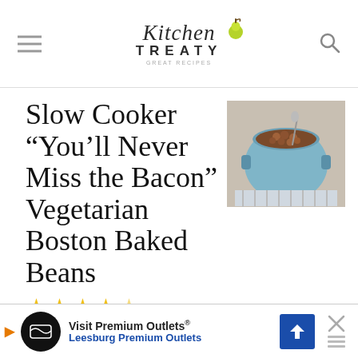Kitchen Treaty
Slow Cooker “You’ll Never Miss the Bacon” Vegetarian Boston Baked Beans
[Figure (photo): A blue ceramic pot filled with baked beans, sitting on a striped cloth on a wooden surface.]
4.34 FROM 18 VOTES // 148 COMMENTS »
No bacon necessary! This meatless Boston baked bean recipe makes a tender, tasty, barbecue-worthy side... the
[Figure (other): Advertisement banner: Visit Premium Outlets® Leesburg Premium Outlets]